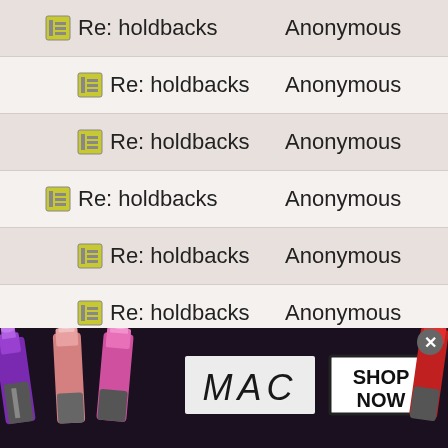| Subject | Author |
| --- | --- |
| Re: holdbacks | Anonymous |
| Re: holdbacks | Anonymous |
| Re: holdbacks | Anonymous |
| Re: holdbacks | Anonymous |
| Re: holdbacks | Anonymous |
| Re: holdbacks | Anonymous |
| Re: holdbacks | Anonymous |
| Re: holdbacks | Anonymous |
| Re: holdbacks | Anonymous |
| Re: holdbacks | Anonymous |
| Re: holdbacks | Anonymous |
| Re: holdbacks | Anonymous |
| Re: holdbacks | Anonymous |
| Re: holdbacks | Anonymous |
[Figure (photo): MAC Cosmetics advertisement banner showing lipsticks in purple, pink, and red colors with MAC logo and SHOP NOW button]